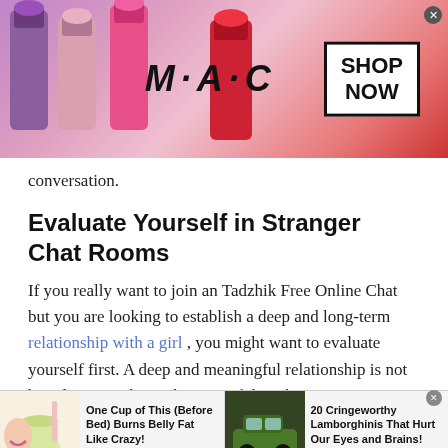[Figure (screenshot): MAC Cosmetics advertisement banner showing lipsticks and SHOP NOW button]
conversation.
Evaluate Yourself in Stranger Chat Rooms
If you really want to join an Tadzhik Free Online Chat but you are looking to establish a deep and long-term relationship with a girl , you might want to evaluate yourself first. A deep and meaningful relationship is not based on any physical aspect of the other person.
If you feel like people only speak to you because of your
[Figure (screenshot): Two advertisement items: 'One Cup of This (Before Bed) Burns Belly Fat Like Crazy!' and '20 Cringeworthy Lamborghinis That Hurt Our Eyes and Brains!']